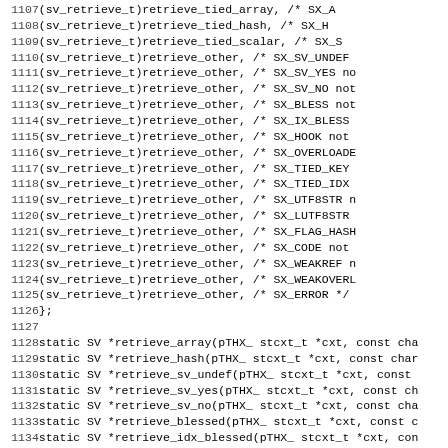Source code listing lines 1107-1138 showing C array of function pointers and static function declarations for retrieve operations.